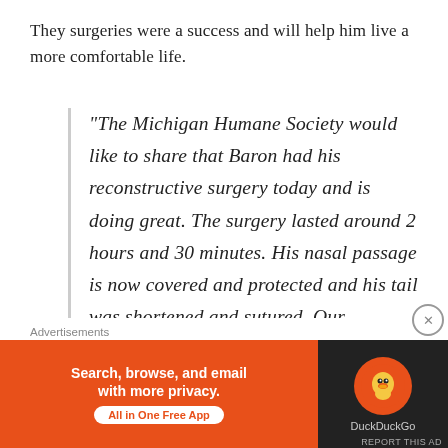They surgeries were a success and will help him live a more comfortable life.
“The Michigan Humane Society would like to share that Baron had his reconstructive surgery today and is doing great. The surgery lasted around 2 hours and 30 minutes. His nasal passage is now covered and protected and his tail was shortened and sutured. Our veterinary team reports that he came through with flying colors, and is resting quietly while he
Advertisements
[Figure (infographic): DuckDuckGo advertisement banner: orange background with text 'Search, browse, and email with more privacy. All in One Free App' and DuckDuckGo logo on dark right panel.]